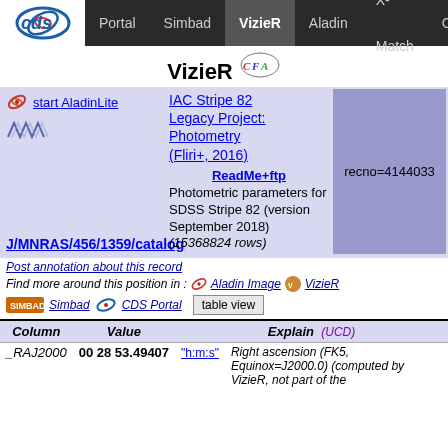Portal  Simbad  VizieR  Aladin  X-Match  Other
VizieR
start AladinLite
IAC Stripe 82 Legacy Project: Photometry (Fliri+, 2016)
ReadMe+ftp
Photometric parameters for SDSS Stripe 82 (version September 2018) (15368824 rows)
J/MNRAS/456/1359/catalog
recno=4144033
Post annotation about this record
Find more around this position in :   Aladin Image   VizieR
Simbad   CDS Portal   table view
| Column | Value | Explain | UCD |
| --- | --- | --- | --- |
| _RAJ2000 | 00 28 53.49407 | "h:m:s" | Right ascension (FK5, Equinox=J2000.0) (computed by VizieR, not part of the |